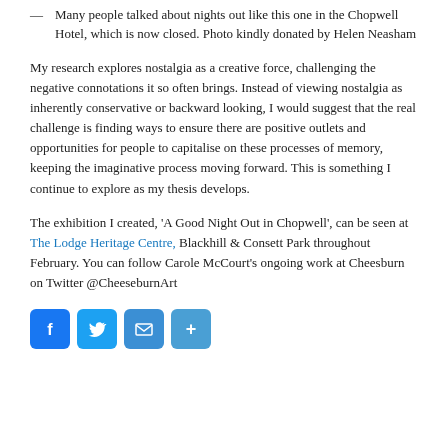Many people talked about nights out like this one in the Chopwell Hotel, which is now closed. Photo kindly donated by Helen Neasham
My research explores nostalgia as a creative force, challenging the negative connotations it so often brings. Instead of viewing nostalgia as inherently conservative or backward looking, I would suggest that the real challenge is finding ways to ensure there are positive outlets and opportunities for people to capitalise on these processes of memory, keeping the imaginative process moving forward. This is something I continue to explore as my thesis develops.
The exhibition I created, 'A Good Night Out in Chopwell', can be seen at The Lodge Heritage Centre, Blackhill & Consett Park throughout February. You can follow Carole McCourt's ongoing work at Cheesburn on Twitter @CheeseburnArt
[Figure (infographic): Row of four social sharing icon buttons: Facebook (blue, f), Twitter (blue, bird), Email (blue, envelope), Share (blue, plus sign)]